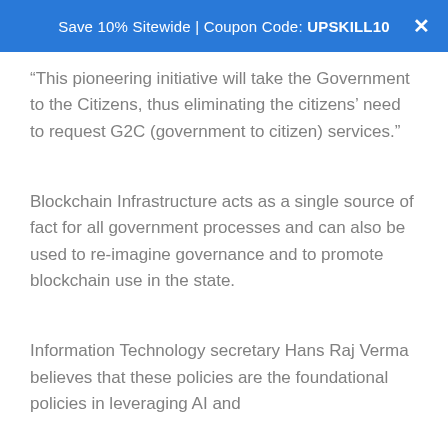Save 10% Sitewide | Coupon Code: UPSKILL10
“This pioneering initiative will take the Government to the Citizens, thus eliminating the citizens’ need to request G2C (government to citizen) services.”
Blockchain Infrastructure acts as a single source of fact for all government processes and can also be used to re-imagine governance and to promote blockchain use in the state.
Information Technology secretary Hans Raj Verma believes that these policies are the foundational policies in leveraging AI and